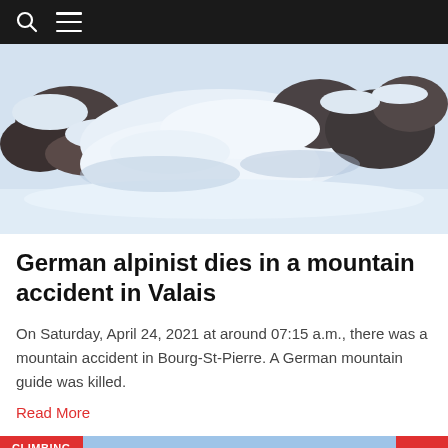[Figure (photo): Aerial view of a snow-covered mountain landscape with rocky outcrops and glacial terrain]
German alpinist dies in a mountain accident in Valais
On Saturday, April 24, 2021 at around 07:15 a.m., there was a mountain accident in Bourg-St-Pierre. A German mountain guide was killed.
Read More
[Figure (photo): Blue sky photo with snowy mountain peaks, labeled CLIMBING category tag]